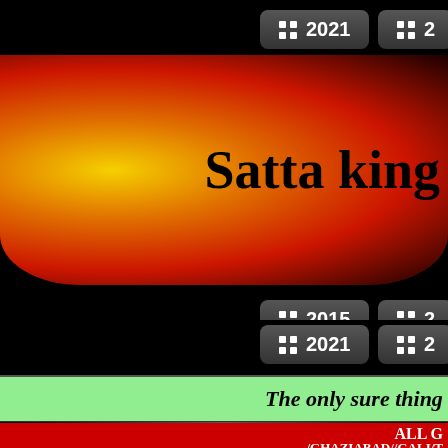⊞ 2021
⊞ 2
Satta king
⊞ 2015
⊞ 2
⊞ 2018
⊞ 2
⊞ 2021
⊞ 2
The only sure thing about
ALL G
/GHAZIABAD//GALI/T